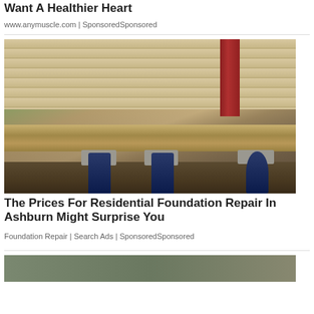You Need To Eat These Superfoods If You Want A Healthier Heart
www.anymuscle.com | SponsoredSponsored
[Figure (photo): Construction photo showing foundation repair with hydraulic jacks under a wood-sided house, concrete piers visible, dirt ground]
The Prices For Residential Foundation Repair In Ashburn Might Surprise You
Foundation Repair | Search Ads | SponsoredSponsored
[Figure (photo): Partial view of another sponsored content image at the bottom of the page]